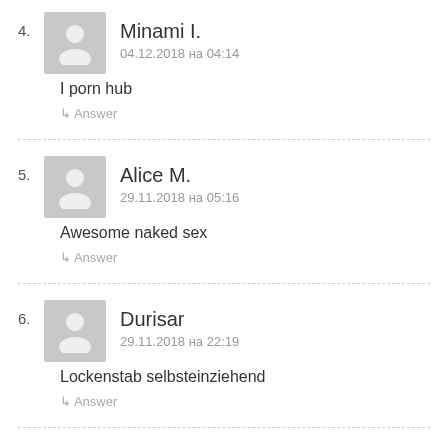4. Minami I. — 04.12.2018 на 04:14 — I porn hub
5. Alice M. — 29.11.2018 на 05:16 — Awesome naked sex
6. Durisar — 29.11.2018 на 22:19 — Lockenstab selbsteinziehend